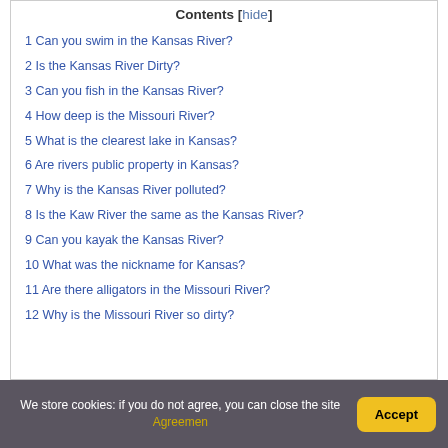Contents [hide]
1 Can you swim in the Kansas River?
2 Is the Kansas River Dirty?
3 Can you fish in the Kansas River?
4 How deep is the Missouri River?
5 What is the clearest lake in Kansas?
6 Are rivers public property in Kansas?
7 Why is the Kansas River polluted?
8 Is the Kaw River the same as the Kansas River?
9 Can you kayak the Kansas River?
10 What was the nickname for Kansas?
11 Are there alligators in the Missouri River?
12 Why is the Missouri River so dirty?
We store cookies: if you do not agree, you can close the site Agreemen